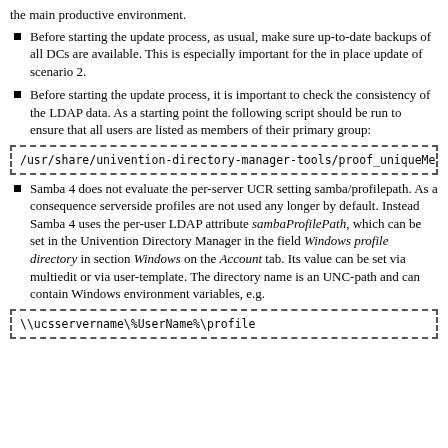the main productive environment.
Before starting the update process, as usual, make sure up-to-date backups of all DCs are available. This is especially important for the in place update of scenario 2.
Before starting the update process, it is important to check the consistency of the LDAP data. As a starting point the following script should be run to ensure that all users are listed as members of their primary group:
/usr/share/univention-directory-manager-tools/proof_uniqueMembers
Samba 4 does not evaluate the per-server UCR setting samba/profilepath. As a consequence serverside profiles are not used any longer by default. Instead Samba 4 uses the per-user LDAP attribute sambaProfilePath, which can be set in the Univention Directory Manager in the field Windows profile directory in section Windows on the Account tab. Its value can be set via multiedit or via user-template. The directory name is an UNC-path and can contain Windows environment variables, e.g.
\\ucsservername\%UserName%\profile